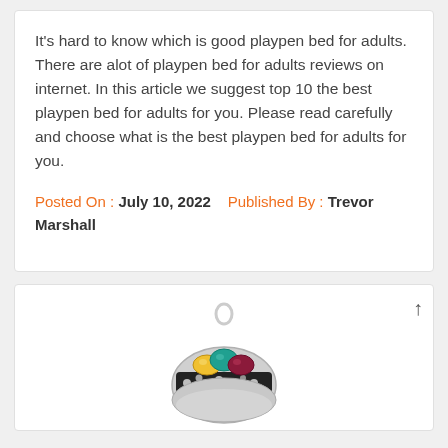It's hard to know which is good playpen bed for adults. There are alot of playpen bed for adults reviews on internet. In this article we suggest top 10 the best playpen bed for adults for you. Please read carefully and choose what is the best playpen bed for adults for you.
Posted On : July 10, 2022   Published By : Trevor Marshall
[Figure (photo): A decorative silver ring with colorful gemstones in yellow, teal/green, and burgundy/red, with black and white patterned band, shown partially against a white background.]